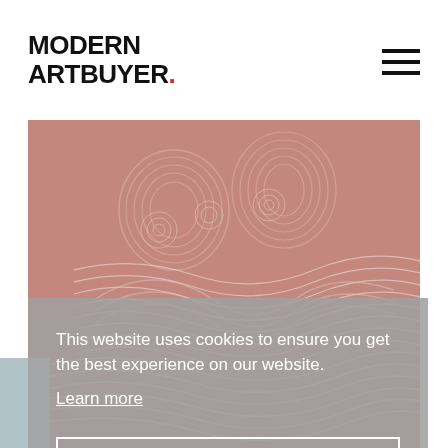MODERN ARTBUYER.
[Figure (illustration): Artistic illustration of two figures with wavy line art on a dusty rose/mauve background]
This website uses cookies to ensure you get the best experience on our website.
Learn more
Got it!